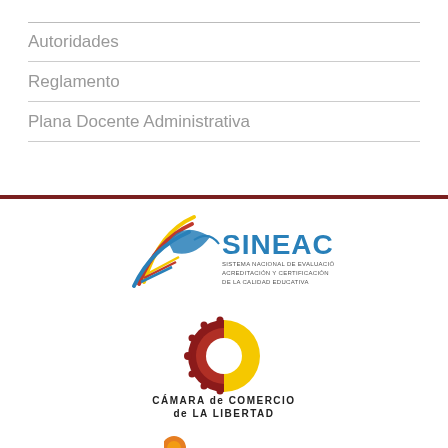Autoridades
Reglamento
Plana Docente Administrativa
[Figure (logo): SINEACE - Sistema Nacional de Evaluación, Acreditación y Certificación de la Calidad Educativa logo]
[Figure (logo): Cámara de Comercio de La Libertad logo]
[Figure (logo): Small orange logo at bottom, partially visible]